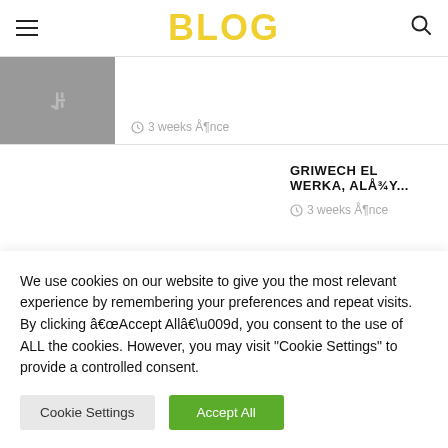BLOG
3 weeks ÅÂ¶nce
GRIWECH EL WERKA, ALÅ¾Y...
3 weeks ÅÂ¶nce
We use cookies on our website to give you the most relevant experience by remembering your preferences and repeat visits. By clicking â€œAccept Allâ€, you consent to the use of ALL the cookies. However, you may visit "Cookie Settings" to provide a controlled consent.
Cookie Settings | Accept All